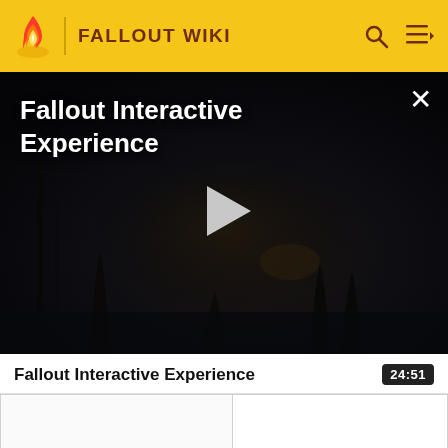FALLOUT WIKI
[Figure (screenshot): Dark post-apocalyptic landscape video thumbnail with title 'Fallout Interactive Experience' and a play button in the center. A close (X) button is in the top right.]
Fallout Interactive Experience
24:51
|  |  |
|  | UnderworldTalkHelloRespons Short |